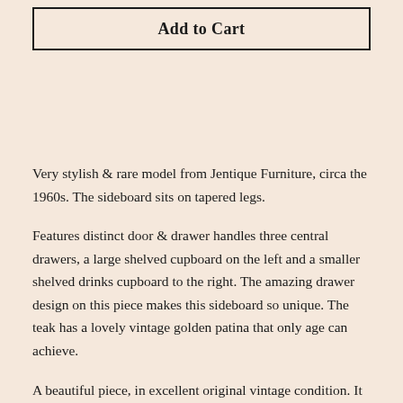[Figure (other): Add to Cart button with black border rectangle]
Very stylish & rare model from Jentique Furniture, circa the 1960s. The sideboard sits on tapered legs.
Features distinct door & drawer handles three central drawers, a large shelved cupboard on the left and a smaller shelved drinks cupboard to the right. The amazing drawer design on this piece makes this sideboard so unique. The teak has a lovely vintage golden patina that only age can achieve.
A beautiful piece, in excellent original vintage condition. It has some minor marks as you would expect of a piece its age but an overall superb condition.
Dimensions